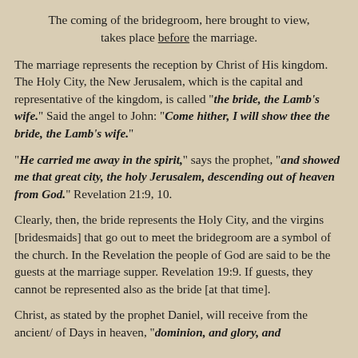The coming of the bridegroom, here brought to view, takes place before the marriage.
The marriage represents the reception by Christ of His kingdom. The Holy City, the New Jerusalem, which is the capital and representative of the kingdom, is called "the bride, the Lamb's wife." Said the angel to John: "Come hither, I will show thee the bride, the Lamb's wife."
"He carried me away in the spirit," says the prophet, "and showed me that great city, the holy Jerusalem, descending out of heaven from God." Revelation 21:9, 10.
Clearly, then, the bride represents the Holy City, and the virgins [bridesmaids] that go out to meet the bridegroom are a symbol of the church. In the Revelation the people of God are said to be the guests at the marriage supper. Revelation 19:9. If guests, they cannot be represented also as the bride [at that time].
Christ, as stated by the prophet Daniel, will receive from the ancient/ of Days in heaven, "dominion, and glory, and